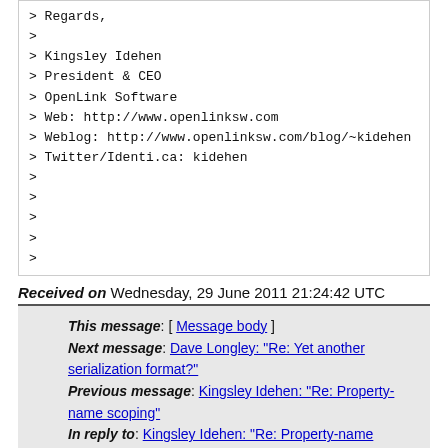> Regards,
>
> Kingsley Idehen
> President & CEO
> OpenLink Software
> Web: http://www.openlinksw.com
> Weblog: http://www.openlinksw.com/blog/~kidehen
> Twitter/Identi.ca: kidehen
>
>
>
>
>
Received on Wednesday, 29 June 2011 21:24:42 UTC
This message: [ Message body ]
Next message: Dave Longley: "Re: Yet another serialization format?"
Previous message: Kingsley Idehen: "Re: Property-name scoping"
In reply to: Kingsley Idehen: "Re: Property-name scoping"
Next in thread: Kingsley Idehen: "Re: Property-name scoping"
Reply: Kingsley Idehen: "Re: Property-name